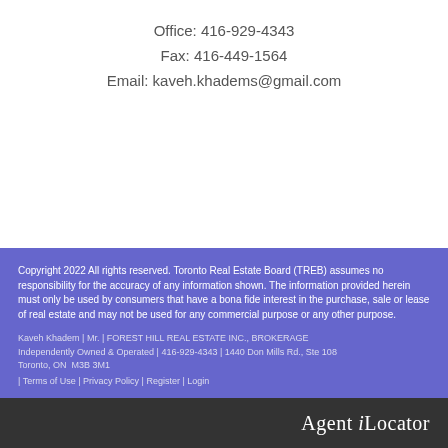Office: 416-929-4343
Fax: 416-449-1564
Email: kaveh.khadems@gmail.com
Copyright 2022 All rights reserved. Toronto Real Estate Board (TREB) assumes no responsibility for the accuracy of any information shown. The information provided herein must only be used by consumers that have a bona fide interest in the purchase, sale or lease of real estate and may not be used for any commercial purpose or any other purpose.
Kaveh Khadem | Mr. | FOREST HILL REAL ESTATE INC., BROKERAGE
Independently Owned & Operated | 416-929-4343 | 1440 Don Mills Rd., Ste 108
Toronto, ON  M3B 3M1
| Terms of Use | Privacy Policy | Register | Login
Agent iLocator